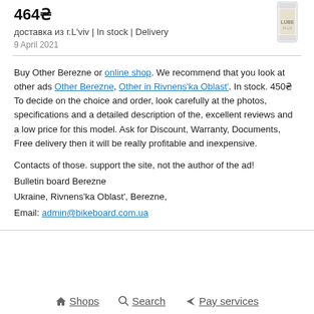464₴
доставка из г.L'viv | In stock | Delivery
9 April 2021
[Figure (photo): Product image - bottle of lubricant/lube product]
Buy Other Berezne or online shop. We recommend that you look at other ads Other Berezne, Other in Rivnens'ka Oblast'. In stock. 450₴ To decide on the choice and order, look carefully at the photos, specifications and a detailed description of the, excellent reviews and a low price for this model. Ask for Discount, Warranty, Documents, Free delivery then it will be really profitable and inexpensive.
Contacts of those. support the site, not the author of the ad!
Bulletin board Berezne
Ukraine, Rivnens'ka Oblast', Berezne,
Email: admin@bikeboard.com.ua
🏠 Shops   🔍 Search   ✈ Pay services